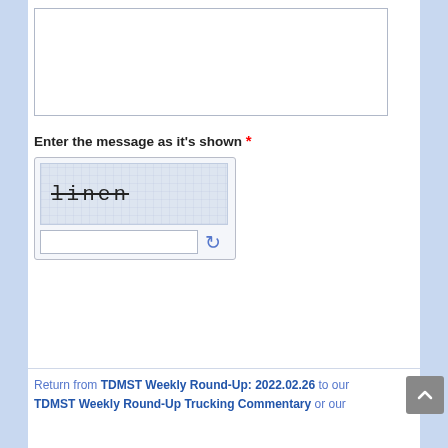[Figure (screenshot): Text area input box for user feedback, with light border]
Enter the message as it's shown *
[Figure (screenshot): CAPTCHA widget showing the word 'linen' with strikethrough on a grid background, with text input field and refresh icon below]
[Figure (screenshot): Blue gradient button labeled 'Send My Feedback Now']
Return from TDMST Weekly Round-Up: 2022.02.26 to our TDMST Weekly Round-Up Trucking Commentary or our